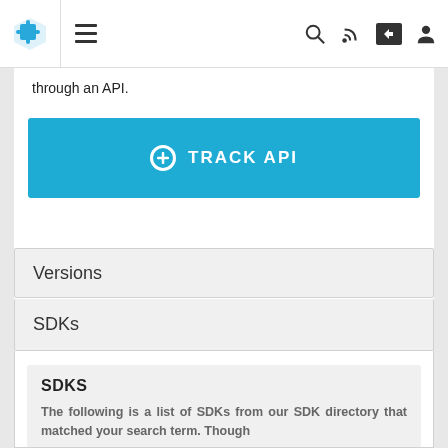Navigation bar with logo, hamburger menu, search, RSS, share, and user icons
through an API.
[Figure (other): Blue button labeled '+ TRACK API']
Versions
SDKs
SDKS
The following is a list of SDKs from our SDK directory that matched your search term. Though